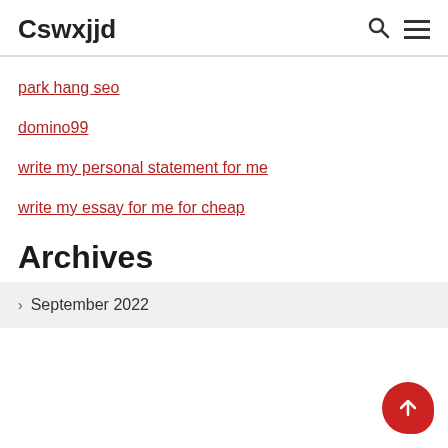Cswxjjd
park hang seo
domino99
write my personal statement for me
write my essay for me for cheap
Archives
September 2022